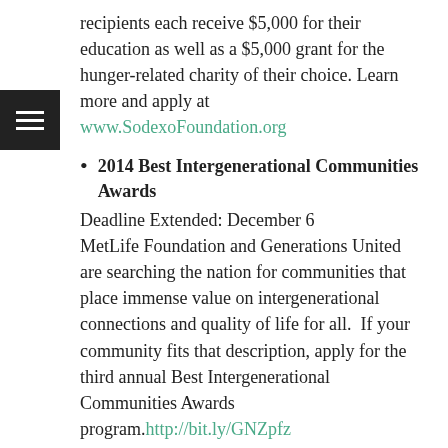recipients each receive $5,000 for their education as well as a $5,000 grant for the hunger-related charity of their choice. Learn more and apply at www.SodexoFoundation.org
2014 Best Intergenerational Communities Awards
Deadline Extended: December 6
MetLife Foundation and Generations United are searching the nation for communities that place immense value on intergenerational connections and quality of life for all. If your community fits that description, apply for the third annual Best Intergenerational Communities Awards program. http://bit.ly/GNZpfz
Daily Point of Light Award